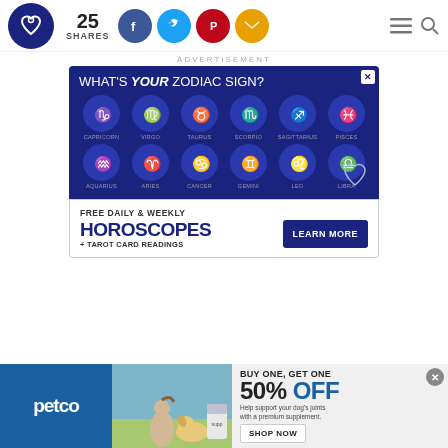25 SHARES — social share icons, hamburger menu, search
ADVERTISEMENT
[Figure (infographic): Zodiac sign advertisement: What's YOUR Zodiac Sign? Grid of 12 zodiac symbols (Capricorn, Virgo, Taurus, Scorpio, Sagittarius, Pisces, Aquarius, Aries, Cancer, Gemini, Leo, Libra) with FREE DAILY & WEEKLY HOROSCOPES + TAROT CARD READINGS — LEARN MORE button]
[Figure (infographic): Petco advertisement: BUY ONE, GET ONE 50% OFF. Help support your dog's joints with a premium supplement. SHOP NOW button. Shows woman with golden retriever dog.]